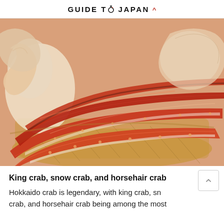GUIDE TO JAPAN ^
[Figure (photo): Cooked king crab legs arranged on a wicker basket tray, shown in close-up. The crab legs are bright red-orange with white flesh visible, and there are additional crab pieces in the background.]
King crab, snow crab, and horsehair crab
Hokkaido crab is legendary, with king crab, snow crab, and horsehair crab being among the most